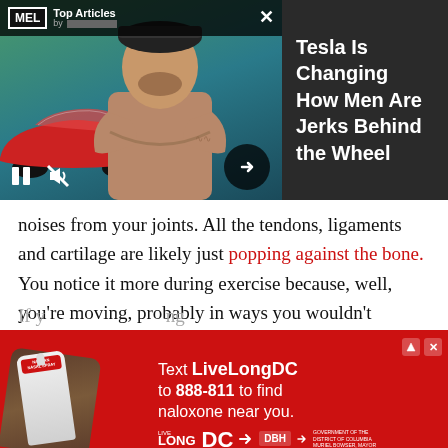[Figure (screenshot): MEL Top Articles ad banner with a man posing arms crossed in front of a red Tesla car, with text 'Tesla Is Changing How Men Are Jerks Behind the Wheel' on dark background. Video controls (pause, mute) visible at bottom left, next arrow at bottom right. Close X button at top right.]
noises from your joints. All the tendons, ligaments and cartilage are likely just popping against the bone. You notice it more during exercise because, well, you're moving, probably in ways you wouldn't ordinarily move.
Read next: Is It Better to Run in the
[Figure (screenshot): Red advertisement banner: Text 'Text LiveLongDC to 888-811 to find naloxone near you.' with LiveLong DC and DBH logos and District of Columbia government seal. Hand holding Narcan nasal spray on left side.]